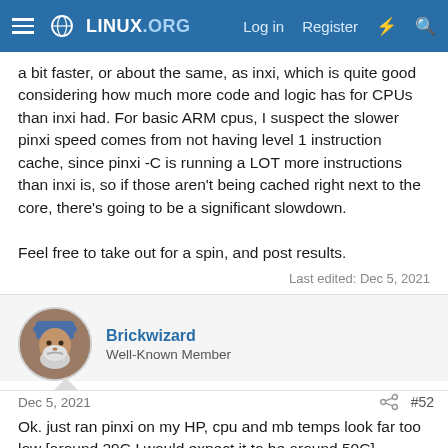LINUX.ORG — Log in  Register
a bit faster, or about the same, as inxi, which is quite good considering how much more code and logic has for CPUs than inxi had. For basic ARM cpus, I suspect the slower pinxi speed comes from not having level 1 instruction cache, since pinxi -C is running a LOT more instructions than inxi is, so if those aren't being cached right next to the core, there's going to be a significant slowdown.

Feel free to take out for a spin, and post results.
Last edited: Dec 5, 2021
Brickwizard
Well-Known Member
Dec 5, 2021  #52
Ok. just ran pinxi on my HP, cpu and mb temps look far too low [around 29C I would expect it to be around 50C]